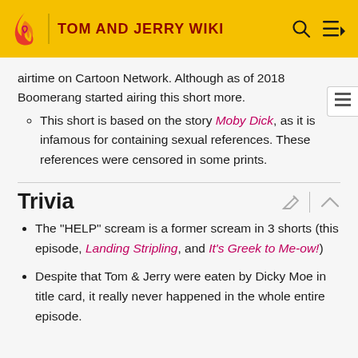TOM AND JERRY WIKI
airtime on Cartoon Network. Although as of 2018 Boomerang started airing this short more.
This short is based on the story Moby Dick, as it is infamous for containing sexual references. These references were censored in some prints.
Trivia
The "HELP" scream is a former scream in 3 shorts (this episode, Landing Stripling, and It's Greek to Me-ow!)
Despite that Tom & Jerry were eaten by Dicky Moe in title card, it really never happened in the whole entire episode.